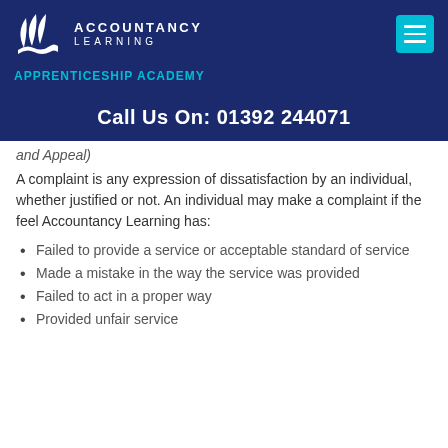[Figure (logo): Accountancy Learning Apprenticeship Academy logo with white leaf/flame design on dark navy background, teal menu button top right]
Call Us On: 01392 244071
and Appeal)
A complaint is any expression of dissatisfaction by an individual, whether justified or not. An individual may make a complaint if the feel Accountancy Learning has:
Failed to provide a service or acceptable standard of service
Made a mistake in the way the service was provided
Failed to act in a proper way
Provided unfair service